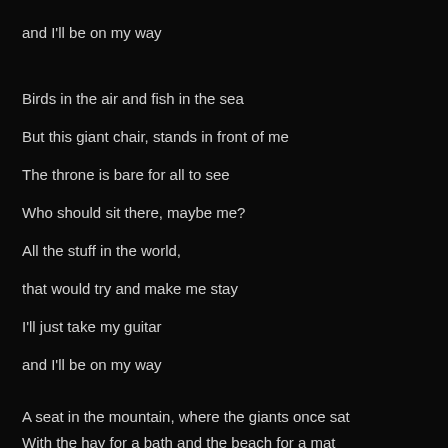and I'll be on my way
Birds in the air and fish in the sea
But this giant chair, stands in front of me
The throne is bare for all to see
Who should sit there, maybe me?
All the stuff in the world,
that would try and make me stay
I'll just take my guitar
and I'll be on my way
A seat in the mountain, where the giants once sat
With the hay for a bath and the beach for a mat